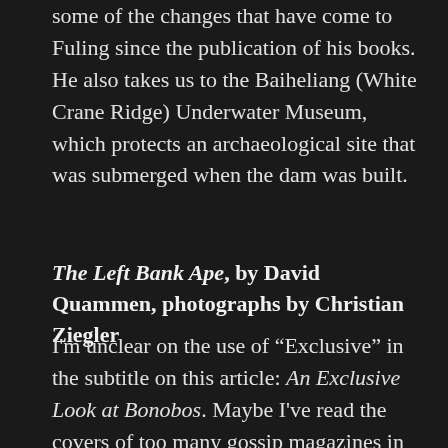some of the changes that have come to Fuling since the publication of his books. He also takes us to the Baiheliang (White Crane Ridge) Underwater Museum, which protects an archaeological site that was submerged when the dam was built.
The Left Bank Ape, by David Quammen, photographs by Christian Ziegler
I'm unclear on the use of “Exclusive” in the subtitle on this article: An Exclusive Look at Bonobos. Maybe I've read the covers of too many gossip magazines in my day, but to me this sounds like the bonobos gave some kind of